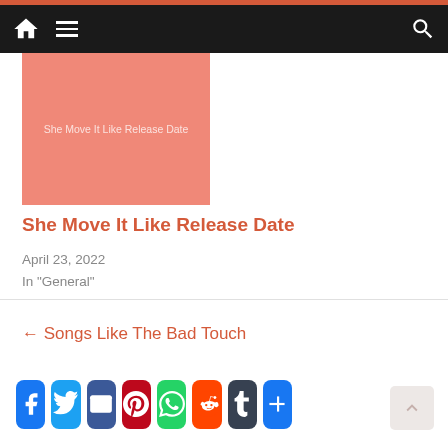Navigation bar with home, menu, and search icons
[Figure (illustration): Salmon/coral colored thumbnail image with text 'She Move It Like Release Date']
She Move It Like Release Date
April 23, 2022
In "General"
[Figure (infographic): Social share buttons row: Facebook, Twitter, Email, Pinterest, WhatsApp, Reddit, Tumblr, More]
← Songs Like The Bad Touch
[Figure (infographic): Bottom social share buttons row: Facebook, Twitter, Email, Pinterest, WhatsApp, Reddit, Tumblr, More]